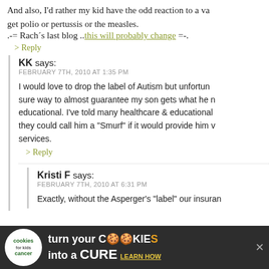And also, I'd rather my kid have the odd reaction to a vaccine than get polio or pertussis or the measles.
.-= Rach´s last blog ..this will probably change =-.
> Reply
KK says: FEBRUARY 7TH, 2010 AT 1:35 PM
I would love to drop the label of Autism but unfortunately it is the sure way to almost guarantee my son gets what he needs, educationally. I've told many healthcare & educational professionals they could call him a "Smurf" if it would provide him with services.
> Reply
Kristi F says: FEBRUARY 7TH, 2010 AT 6:31 PM
Exactly, without the Asperger's "label" our insurance...
[Figure (infographic): Advertisement banner for cookies for kids cancer: turn your COOKIES into a CURE, LEARN HOW]